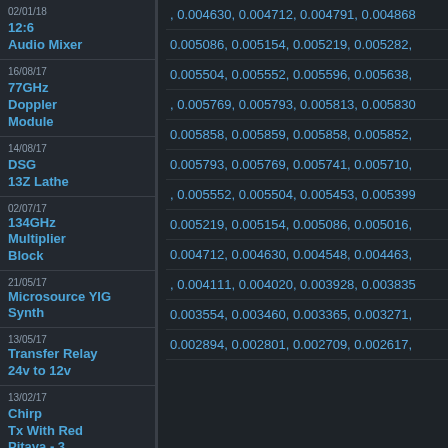02/01/18  12:6  Audio Mixer
, 0.004630, 0.004712, 0.004791, 0.004868
16/08/17  77GHz  Doppler Module
0.005086, 0.005154, 0.005219, 0.005282,
0.005504, 0.005552, 0.005596, 0.005638,
14/08/17  DSG  13Z Lathe
, 0.005769, 0.005793, 0.005813, 0.005830
02/07/17  134GHz Multiplier Block
0.005858, 0.005859, 0.005858, 0.005852,
0.005793, 0.005769, 0.005741, 0.005710,
21/05/17  Microsource YIG Synth
, 0.005552, 0.005504, 0.005453, 0.005399
0.005219, 0.005154, 0.005086, 0.005016,
13/05/17  Transfer Relay 24v to 12v
0.004712, 0.004630, 0.004548, 0.004463,
, 0.004111, 0.004020, 0.003928, 0.003835
13/02/17  Chirp Tx With Red Pitaya - 3
0.003554, 0.003460, 0.003365, 0.003271,
0.002894, 0.002801, 0.002709, 0.002617,
27/01/17  Chirp